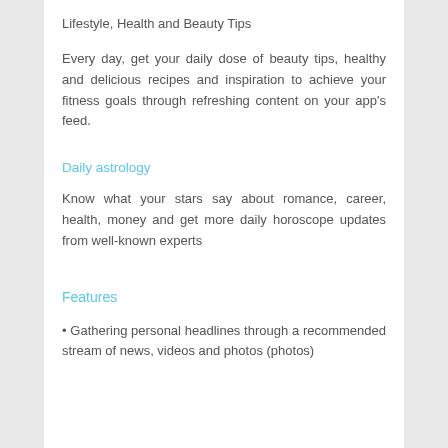Lifestyle, Health and Beauty Tips
Every day, get your daily dose of beauty tips, healthy and delicious recipes and inspiration to achieve your fitness goals through refreshing content on your app's feed.
Daily astrology
Know what your stars say about romance, career, health, money and get more daily horoscope updates from well-known experts
Features
• Gathering personal headlines through a recommended stream of news, videos and photos (photos)